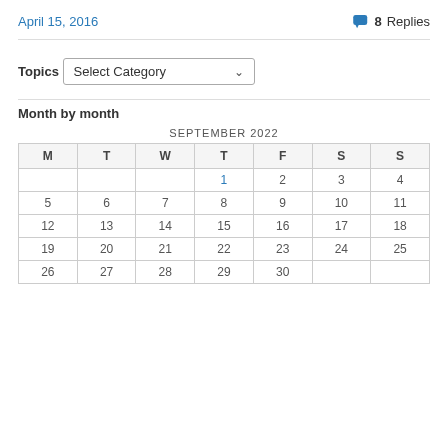April 15, 2016
8 Replies
Topics
Select Category
Month by month
| M | T | W | T | F | S | S |
| --- | --- | --- | --- | --- | --- | --- |
|  |  |  | 1 | 2 | 3 | 4 |
| 5 | 6 | 7 | 8 | 9 | 10 | 11 |
| 12 | 13 | 14 | 15 | 16 | 17 | 18 |
| 19 | 20 | 21 | 22 | 23 | 24 | 25 |
| 26 | 27 | 28 | 29 | 30 |  |  |